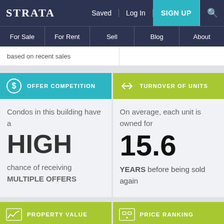STRATA | Saved | Log In | SIGN UP
For Sale | For Rent | Sell | Blog | About
based on recent sales
OFFER COMPETITION
Condos in this building have a HIGH chance of receiving MULTIPLE OFFERS
TURNOVER OF UNITS
On average, each unit is owned for 15.6 YEARS before being sold again
PROPERTY VALUE
PRICE RANKING